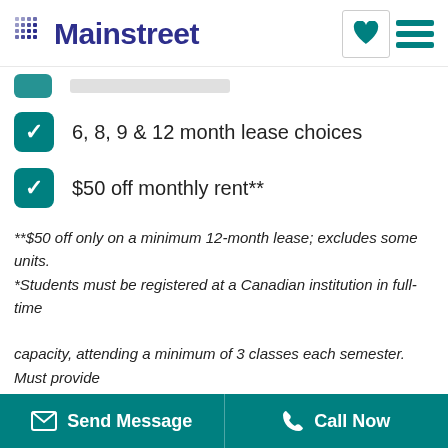Mainstreet
6, 8, 9 & 12 month lease choices
$50 off monthly rent**
**$50 off only on a minimum 12-month lease; excludes some units. *Students must be registered at a Canadian institution in full-time capacity, attending a minimum of 3 classes each semester. Must provide proof of registration at time of application. Please inquire for full details.
Rental rates, incentives, and availability are subject to change without notice. Please inquire for current
Send Message   Call Now